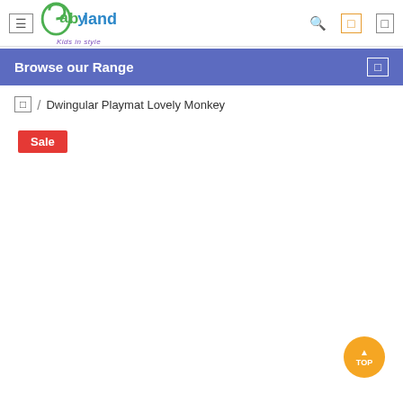Babyland Kids in style — site header with navigation icons
Browse our Range
🏠 / Dwingular Playmat Lovely Monkey
Sale